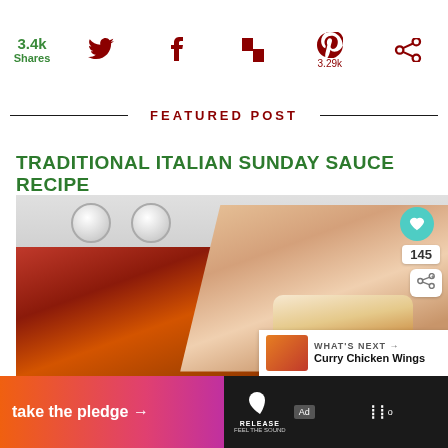[Figure (screenshot): Social share bar with 3.4k shares count, Twitter, Facebook, Flipboard, Pinterest (3.29k), and share icons in dark red]
FEATURED POST
TRADITIONAL ITALIAN SUNDAY SAUCE RECIPE
[Figure (photo): Photo of a hand holding a piece of bread dipped in tomato sauce, with stove knobs visible in background. Overlaid with heart/like button, count 145, share button, and a 'WHAT'S NEXT' panel showing Curry Chicken Wings]
[Figure (infographic): Advertisement banner at bottom: 'take the pledge' with arrow, RELEASE logo, ad marker, and channel branding on dark background]